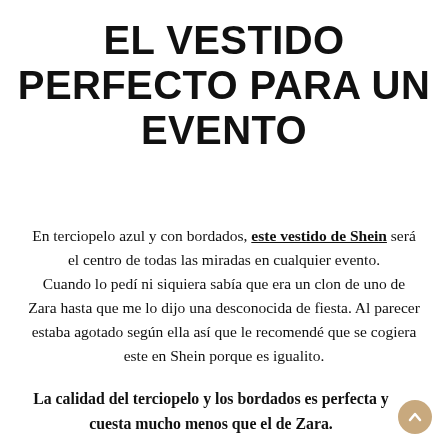EL VESTIDO PERFECTO PARA UN EVENTO
En terciopelo azul y con bordados, este vestido de Shein será el centro de todas las miradas en cualquier evento. Cuando lo pedí ni siquiera sabía que era un clon de uno de Zara hasta que me lo dijo una desconocida de fiesta. Al parecer estaba agotado según ella así que le recomendé que se cogiera este en Shein porque es igualito.
La calidad del terciopelo y los bordados es perfecta y cuesta mucho menos que el de Zara.